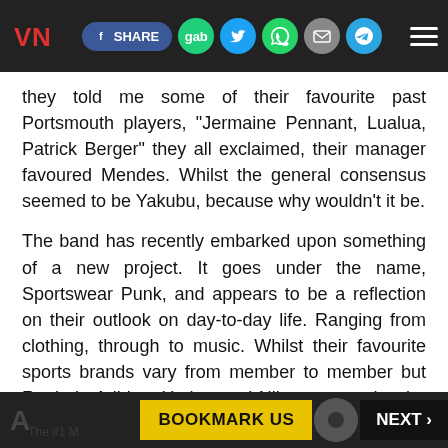VN | Share | gab | Twitter | WhatsApp | Email | Telegram | Menu
they told me some of their favourite past Portsmouth players, "Jermaine Pennant, Lualua, Patrick Berger" they all exclaimed, their manager favoured Mendes. Whilst the general consensus seemed to be Yakubu, because why wouldn't it be.
The band has recently embarked upon something of a new project. It goes under the name, Sportswear Punk, and appears to be a reflection on their outlook on day-to-day life. Ranging from clothing, through to music. Whilst their favourite sports brands vary from member to member but Reebok, Adidas, Umbro and Nike appeared to be the favourites.
BOOKMARK US   NEXT ›